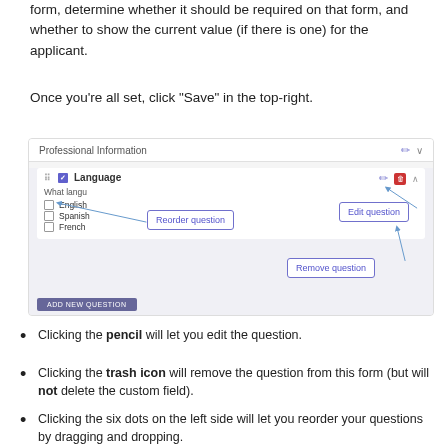form, determine whether it should be required on that form, and whether to show the current value (if there is one) for the applicant.
Once you're all set, click "Save" in the top-right.
[Figure (screenshot): Screenshot of a form builder UI showing a 'Professional Information' section with a 'Language' question. Three callout boxes point to UI elements: 'Reorder question' (pointing to six-dot drag handle), 'Edit question' (pointing to pencil icon), and 'Remove question' (pointing to trash icon). The language question shows checkboxes for English, Spanish, and French. An 'ADD NEW QUESTION' button appears at the bottom.]
Clicking the pencil will let you edit the question.
Clicking the trash icon will remove the question from this form (but will not delete the custom field).
Clicking the six dots on the left side will let you reorder your questions by dragging and dropping.